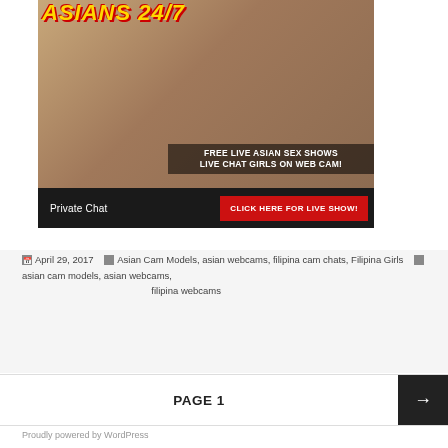[Figure (photo): Advertisement banner with photo and overlay text: FREE LIVE ASIAN SEX SHOWS / LIVE CHAT GIRLS ON WEB CAM! with Private Chat label and CLICK HERE FOR LIVE SHOW! button]
April 29, 2017   Asian Cam Models, asian webcams, filipina cam chats, Filipina Girls   asian cam models, asian webcams, filipina webcams
PAGE 1
Proudly powered by WordPress